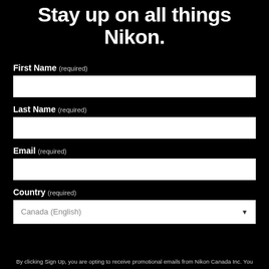Stay up on all things Nikon.
First Name (required)
Last Name (required)
Email (required)
Country (required)
Canada (English)
By clicking Sign Up, you are opting to receive promotional emails from Nikon Canada Inc. You